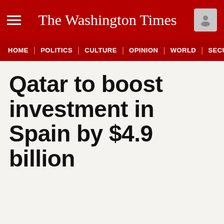The Washington Times
HOME | POLITICS | CULTURE | OPINION | WORLD | SECURITY
Qatar to boost investment in Spain by $4.9 billion